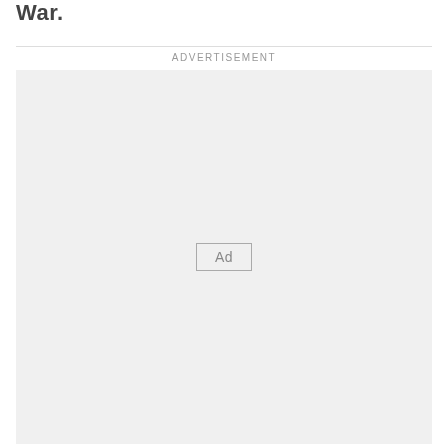War.
ADVERTISEMENT
[Figure (other): Advertisement placeholder box with an 'Ad' button centered inside a light gray rectangle.]